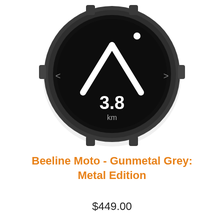[Figure (photo): Circular smartwatch/navigation device (Beeline Moto) in Gunmetal Grey Metal Edition, viewed from the front. The round device has a dark grey metallic bezel and a black circular display showing a white caret/arrow symbol pointing upward and the text '3.8 km' in white. Small left and right navigation arrows are visible on either side of the display. Small buttons/lugs are visible at the sides of the bezel.]
Beeline Moto - Gunmetal Grey: Metal Edition
$449.00